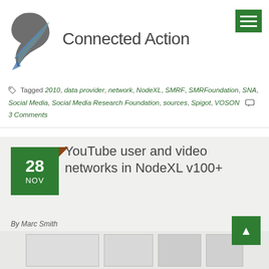Connected Action
Tagged 2010, data provider, network, NodeXL, SMRF, SMRFoundation, SNA, Social Media, Social Media Research Foundation, sources, Spigot, VOSON  3 Comments
YouTube user and video networks in NodeXL v100+
By Marc Smith
[Figure (screenshot): Screenshot of a network graph or interface related to YouTube user and video networks in NodeXL]